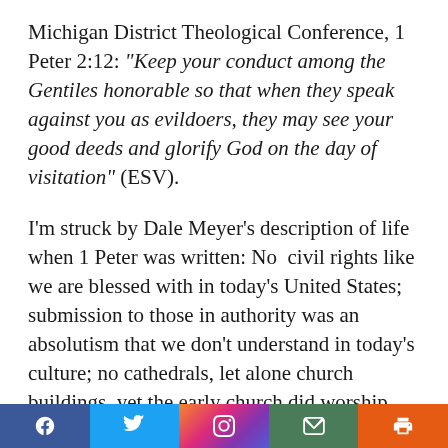Michigan District Theological Conference, 1 Peter 2:12: “Keep your conduct among the Gentiles honorable so that when they speak against you as evildoers, they may see your good deeds and glorify God on the day of visitation” (ESV).
I’m struck by Dale Meyer’s description of life when 1 Peter was written: No  civil rights like we are blessed with in today’s United States; submission to those in authority was an absolutism that we don’t understand in today’s culture; no cathedrals, let alone church buildings, yet the early church did worship, gathering in their homes in the name of the lord. And so on their life in the early church...
[Figure (other): Social media sharing bar with Facebook, Twitter, Instagram, email, and print buttons]